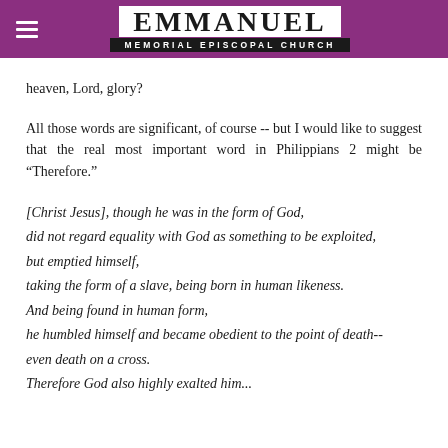EMMANUEL MEMORIAL EPISCOPAL CHURCH
heaven, Lord, glory?
All those words are significant, of course -- but I would like to suggest that the real most important word in Philippians 2 might be “Therefore.”
[Christ Jesus], though he was in the form of God,
did not regard equality with God as something to be exploited,
but emptied himself,
taking the form of a slave, being born in human likeness.
And being found in human form,
he humbled himself and became obedient to the point of death--
even death on a cross.
Therefore God also highly exalted him...